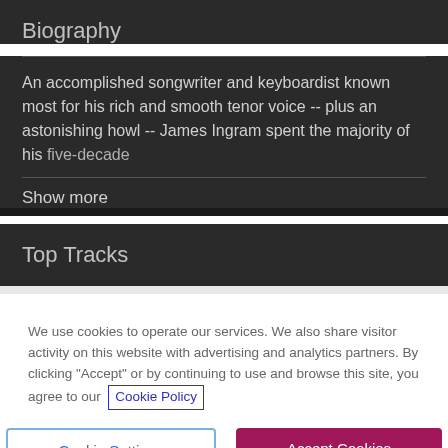Biography
An accomplished songwriter and keyboardist known most for his rich and smooth tenor voice -- plus an astonishing howl -- James Ingram spent the majority of his five-decade
Show more
Top Tracks
We use cookies to operate our services. We also share visitor activity on this website with advertising and analytics partners. By clicking "Accept" or by continuing to use and browse this site, you agree to our Cookie Policy
Cookie Settings
Accept Cookies